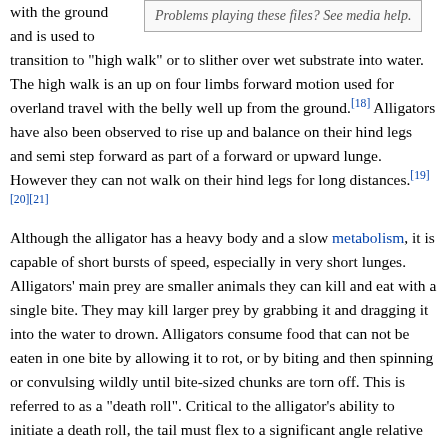with the ground and is used to
Problems playing these files? See media help.
transition to "high walk" or to slither over wet substrate into water. The high walk is an up on four limbs forward motion used for overland travel with the belly well up from the ground.[18] Alligators have also been observed to rise up and balance on their hind legs and semi step forward as part of a forward or upward lunge. However they can not walk on their hind legs for long distances.[19][20][21]
Although the alligator has a heavy body and a slow metabolism, it is capable of short bursts of speed, especially in very short lunges. Alligators' main prey are smaller animals they can kill and eat with a single bite. They may kill larger prey by grabbing it and dragging it into the water to drown. Alligators consume food that can not be eaten in one bite by allowing it to rot, or by biting and then spinning or convulsing wildly until bite-sized chunks are torn off. This is referred to as a "death roll". Critical to the alligator's ability to initiate a death roll, the tail must flex to a significant angle relative to its body. An alligator with an immobilized tail cannot perform a death roll.[22]
Most of the...